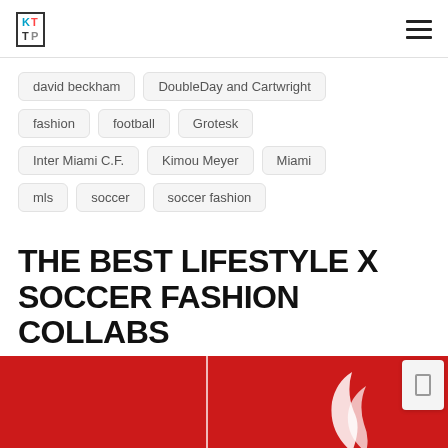KTP logo and hamburger menu
david beckham
DoubleDay and Cartwright
fashion
football
Grotesk
Inter Miami C.F.
Kimou Meyer
Miami
mls
soccer
soccer fashion
THE BEST LIFESTYLE X SOCCER FASHION COLLABS
[Figure (photo): Red background image with white vertical line and white swirl/flame design elements, with a small grey card/button in the top right corner]